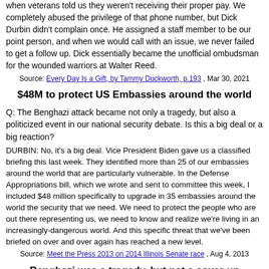when veterans told us they weren't receiving their proper pay. We completely abused the privilege of that phone number, but Dick Durbin didn't complain once. He assigned a staff member to be our point person, and when we would call with an issue, we never failed to get a follow up. Dick essentially became the unofficial ombudsman for the wounded warriors at Walter Reed.
Source: Every Day Is a Gift, by Tammy Duckworth, p.193 , Mar 30, 2021
$48M to protect US Embassies around the world
Q: The Benghazi attack became not only a tragedy, but also a politicized event in our national security debate. Is this a big deal or a big reaction?
DURBIN: No, it's a big deal. Vice President Biden gave us a classified briefing this last week. They identified more than 25 of our embassies around the world that are particularly vulnerable. In the Defense Appropriations bill, which we wrote and sent to committee this week, I included $48 million specifically to upgrade in 35 embassies around the world the security that we need. We need to protect the people who are out there representing us, we need to know and realize we're living in an increasingly-dangerous world. And this specific threat that we've been briefed on over and over again has reached a new level.
Source: Meet the Press 2013 on 2014 Illinois Senate race , Aug 4, 2013
Benghazi was a tragedy, but not a cover-up
Q: What about Benghazi?
DURBIN: To be it...